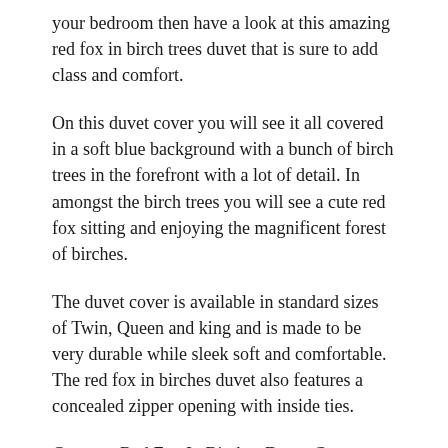your bedroom then have a look at this amazing red fox in birch trees duvet that is sure to add class and comfort.
On this duvet cover you will see it all covered in a soft blue background with a bunch of birch trees in the forefront with a lot of detail. In amongst the birch trees you will see a cute red fox sitting and enjoying the magnificent forest of birches.
The duvet cover is available in standard sizes of Twin, Queen and king and is made to be very durable while sleek soft and comfortable. The red fox in birches duvet also features a concealed zipper opening with inside ties.
Get your Red Fox In Birches Duvet Cover